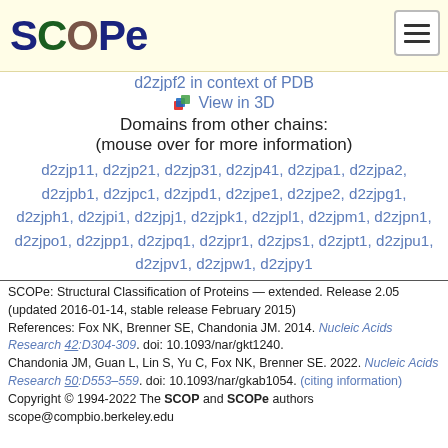SCOPe
d2zjpf2 in context of PDB
View in 3D
Domains from other chains:
(mouse over for more information)
d2zjp11, d2zjp21, d2zjp31, d2zjp41, d2zjpa1, d2zjpa2, d2zjpb1, d2zjpc1, d2zjpd1, d2zjpe1, d2zjpe2, d2zjpg1, d2zjph1, d2zjpi1, d2zjpj1, d2zjpk1, d2zjpl1, d2zjpm1, d2zjpn1, d2zjpo1, d2zjpp1, d2zjpq1, d2zjpr1, d2zjps1, d2zjpt1, d2zjpu1, d2zjpv1, d2zjpw1, d2zjpy1
SCOPe: Structural Classification of Proteins — extended. Release 2.05 (updated 2016-01-14, stable release February 2015)
References: Fox NK, Brenner SE, Chandonia JM. 2014. Nucleic Acids Research 42:D304-309. doi: 10.1093/nar/gkt1240.
Chandonia JM, Guan L, Lin S, Yu C, Fox NK, Brenner SE. 2022. Nucleic Acids Research 50:D553–559. doi: 10.1093/nar/gkab1054. (citing information)
Copyright © 1994-2022 The SCOP and SCOPe authors
scope@compbio.berkeley.edu